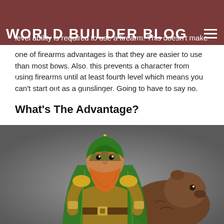WORLD BUILDER BLOG
other weapons.
level ability is required to use a firearm. This doesn't make much sense to me since one of firearms advantages is that they are easier to use than most bows. Also, this prevents a character from using firearms until at least fourth level which means you can't start out as a gunslinger. Going to have to say no.
What's The Advantage?
[Figure (illustration): Fantasy illustration of a dwarf ranger wearing a green hooded cloak and leather armor, with orange beard, accompanied by a large brown animal (possibly a bear or badger) on a grey background.]